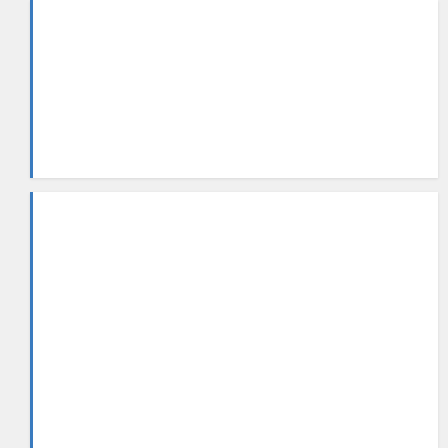[Figure (screenshot): Top white card panel with blue left border, content not visible (cut off at top)]
WILMORE WEATHER
[Figure (infographic): Wilmore weather widget with blue background showing WILMORE header, crescent moon icon, 63° temperature, 'clear' condition, sunrise 7:09 am and sunset 8:06 pm EDT, and forecast days sat, sun, mon]